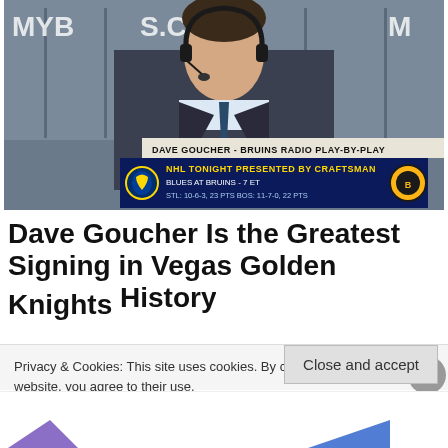[Figure (screenshot): TV broadcast screenshot showing Dave Goucher, Bruins Radio Play-by-Play announcer, wearing a suit and headset with microphone. An NHL Tonight graphic shows Blues at Bruins game info: STL 10-6-3 23 PTS, BOS 11-7-0 22 PTS, 7 ET.]
Dave Goucher Is the Greatest Signing in Vegas Golden Knights History
Privacy & Cookies: This site uses cookies. By continuing to use this website, you agree to their use.
To find out more, including how to control cookies, see here: Cookie Policy